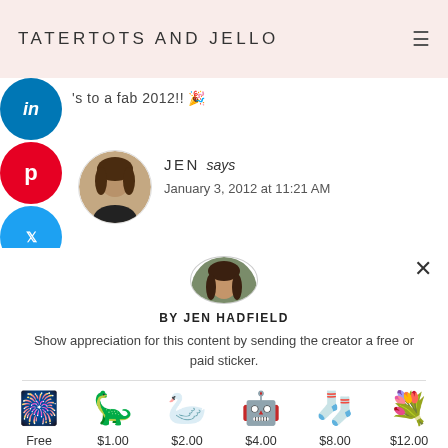TATERTOTS AND JELLO
's to a fab 2012!! 🎉
JEN says
January 3, 2012 at 11:21 AM
BY JEN HADFIELD
Show appreciation for this content by sending the creator a free or paid sticker.
[Figure (infographic): Sticker selection row showing 6 stickers with prices: Free, $1.00, $2.00, $4.00, $8.00, $12.00]